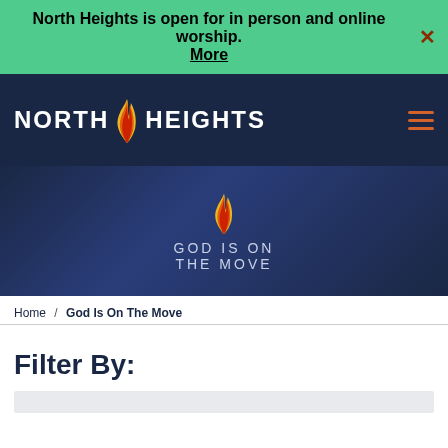North Heights is open for in person and online worship. More
[Figure (logo): North Heights church logo with flame icon and text NORTH HEIGHTS]
[Figure (illustration): Hero banner with dark blue background, flame logo, and text GOD IS ON THE MOVE]
Home / God Is On The Move
Filter By: